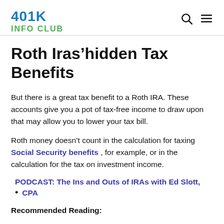401K INFO CLUB
Roth Iras’hidden Tax Benefits
But there is a great tax benefit to a Roth IRA. These accounts give you a pot of tax-free income to draw upon that may allow you to lower your tax bill.
Roth money doesn’t count in the calculation for taxing Social Security benefits , for example, or in the calculation for the tax on investment income.
PODCAST: The Ins and Outs of IRAs with Ed Slott,
CPA
Recommended Reading: